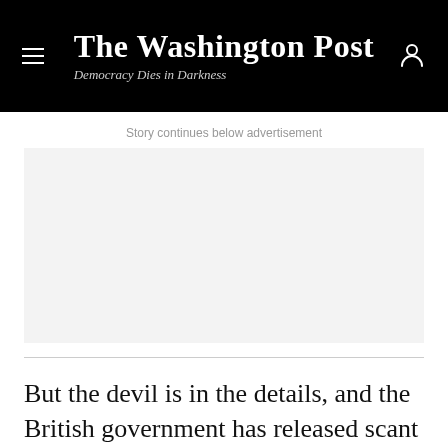The Washington Post
Democracy Dies in Darkness
Story continues below advertisement
[Figure (other): Advertisement placeholder box, light grey background]
But the devil is in the details, and the British government has released scant information on how it